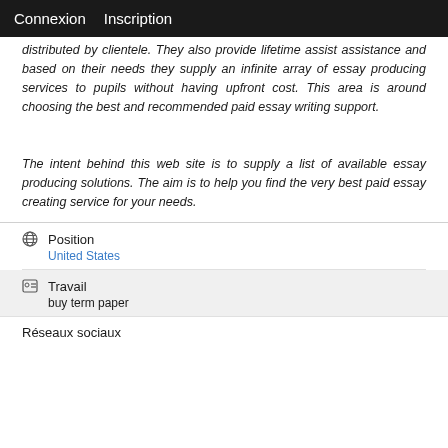Connexion  Inscription
distributed by clientele. They also provide lifetime assist assistance and based on their needs they supply an infinite array of essay producing services to pupils without having upfront cost. This area is around choosing the best and recommended paid essay writing support.
The intent behind this web site is to supply a list of available essay producing solutions. The aim is to help you find the very best paid essay creating service for your needs.
Position
United States
Travail
buy term paper
Réseaux sociaux